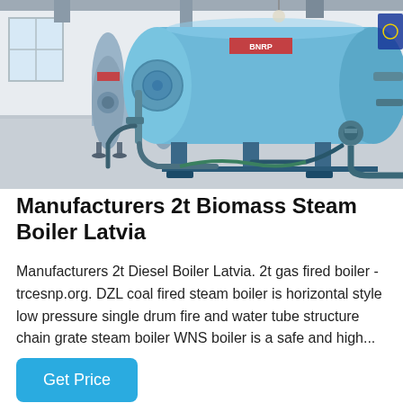[Figure (photo): Industrial boiler room with large horizontal cylindrical blue steam boilers mounted on frames with pipes, valves and fittings visible in a bright warehouse-style facility.]
Manufacturers 2t Biomass Steam Boiler Latvia
Manufacturers 2t Diesel Boiler Latvia. 2t gas fired boiler - trcesnp.org. DZL coal fired steam boiler is horizontal style low pressure single drum fire and water tube structure chain grate steam boiler WNS boiler is a safe and high...
Get Price